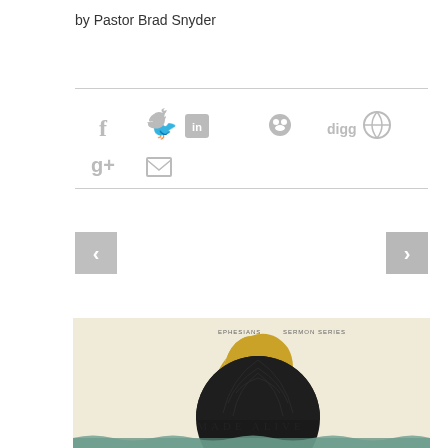by Pastor Brad Snyder
[Figure (screenshot): Social media sharing icons: Facebook (f), Twitter bird, LinkedIn (in), Reddit alien, Digg text, globe icon, Google+ (g+), envelope/email icon — all in light gray]
[Figure (other): Navigation arrows: left chevron button (gray square) and right chevron button (gray square)]
[Figure (illustration): Book cover for a sermon series. Cream/beige background. A dark textured dome shape (brain-like) over a gold crescent. Text reads 'MADE ALIVE' in spaced serif letters. Small text at top reads 'EPHESIANS SERMON SERIES'. Decorative border element at bottom in teal/blue.]